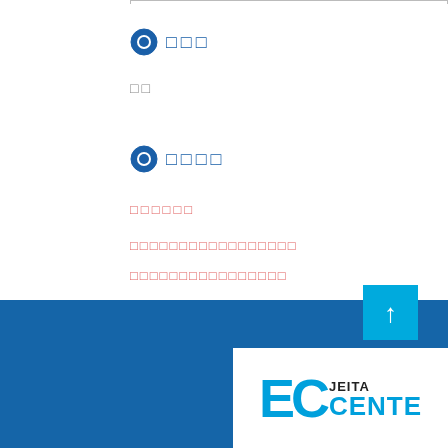□□□
□□
□□□□
□□□□□□
□□□□□□□□□□□□□□□□□
□□□□□□□□□□□□□□□□
[Figure (logo): JEITA EC CENTER logo in cyan and black on white background]